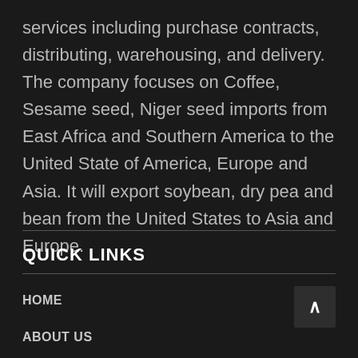services including purchase contracts, distributing, warehousing, and delivery. The company focuses on Coffee, Sesame seed, Niger seed imports from East Africa and Southern America to the United State of America, Europe and Asia. It will export soybean, dry pea and bean from the United States to Asia and Europe.
QUICK LINKS
HOME
ABOUT US
OUR SERVICES
OUR PRODUCT